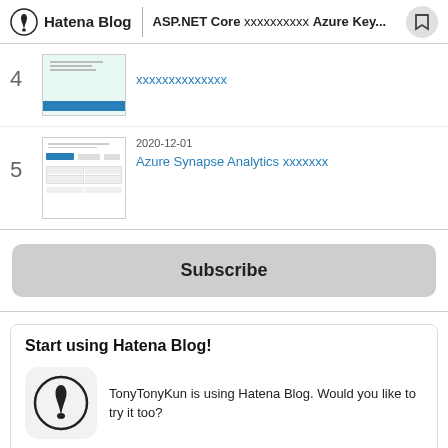Hatena Blog | ASP.NET Core xxxxxxxxxx Azure Key...
4 — xxxxxxxxxxxxxx
5 — 2020-12-01 — Azure Synapse Analytics xxxxxxx
Subscribe
Start using Hatena Blog!
TonyTonyKun is using Hatena Blog. Would you like to try it too?
Start using Hatena Blog (Free)